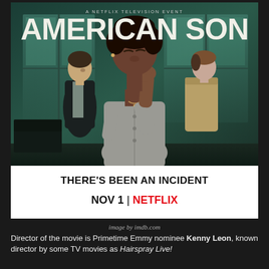[Figure (photo): Movie poster for 'American Son' — A Netflix Television Event. Shows three people in a police waiting room: a Black woman in the center covering her mouth with her hand (eyes closed), a white man in a dark suit on the left, and a police officer on the right. Teal/green dramatic lighting. White bar at bottom reads 'THERE'S BEEN AN INCIDENT' and 'NOV 1 | NETFLIX']
image by imdb.com
Director of the movie is Primetime Emmy nominee Kenny Leon, known director by some TV movies as Hairspray Live!